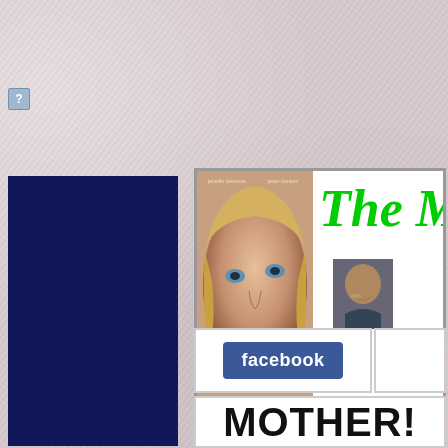[Figure (screenshot): Crumpled pinkish-gray paper texture background filling the page]
[Figure (illustration): Small blue question mark icon/button in the upper left area]
[Figure (photo): Dark navy blue rectangular panel on the left side of the page]
[Figure (screenshot): Movie poster for 'mother!' featuring Jennifer Lawrence and Javier Bardem, showing a woman's face (Jennifer Lawrence) looking up, with the stylized 'mother!' text at bottom]
[Figure (screenshot): Partially visible movie review or website panel showing green italic text 'The Mo' (truncated), a small portrait photo of a man thinking, and italic text 'Beca' (truncated)]
[Figure (screenshot): Facebook button/logo in blue rectangle]
MOTHER!